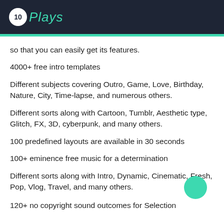10Plays
so that you can easily get its features.
4000+ free intro templates
Different subjects covering Outro, Game, Love, Birthday, Nature, City, Time-lapse, and numerous others.
Different sorts along with Cartoon, Tumblr, Aesthetic type, Glitch, FX, 3D, cyberpunk, and many others.
100 predefined layouts are available in 30 seconds
100+ eminence free music for a determination
Different sorts along with Intro, Dynamic, Cinematic, Fresh, Pop, Vlog, Travel, and many others.
120+ no copyright sound outcomes for Selection